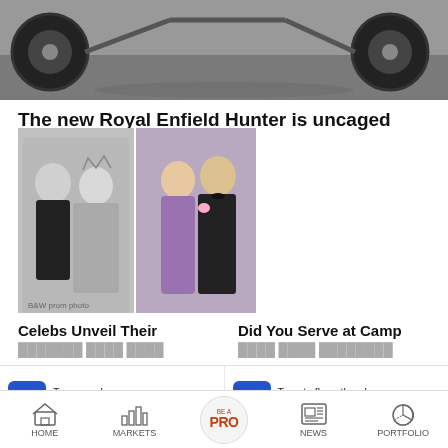[Figure (photo): Cropped photo showing bottom of a motorcycle, black and white, wheels on pavement]
The new Royal Enfield Hunter is uncaged
[Figure (photo): Two prom photos side by side: left is black and white showing a couple at prom, right is color showing a couple in formal wear]
Celebs Unveil Their
Did You Serve at Camp
Transgenders can now get gender
Tomato flu outbreak among children in
HOME  MARKETS  BE A PRO  NEWS  PORTFOLIO